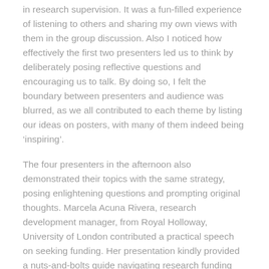in research supervision. It was a fun-filled experience of listening to others and sharing my own views with them in the group discussion. Also I noticed how effectively the first two presenters led us to think by deliberately posing reflective questions and encouraging us to talk. By doing so, I felt the boundary between presenters and audience was blurred, as we all contributed to each theme by listing our ideas on posters, with many of them indeed being ‘inspiring’.
The four presenters in the afternoon also demonstrated their topics with the same strategy, posing enlightening questions and prompting original thoughts. Marcela Acuna Rivera, research development manager, from Royal Holloway, University of London contributed a practical speech on seeking funding. Her presentation kindly provided a nuts-and-bolts guide navigating research funding with an emphasis on preparing the application, and reminded us why having a holistic view of the research